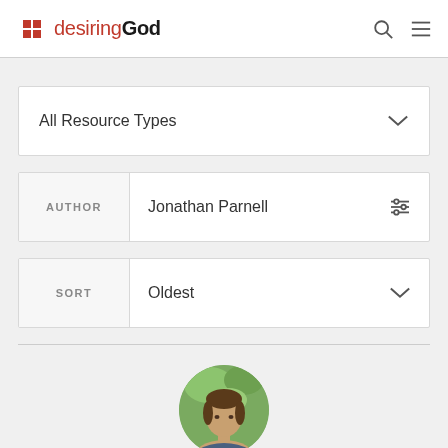desiringGod
All Resource Types
AUTHOR: Jonathan Parnell
SORT: Oldest
[Figure (photo): Circular cropped portrait photo of Jonathan Parnell, a man with brown hair, with a green blurred background]